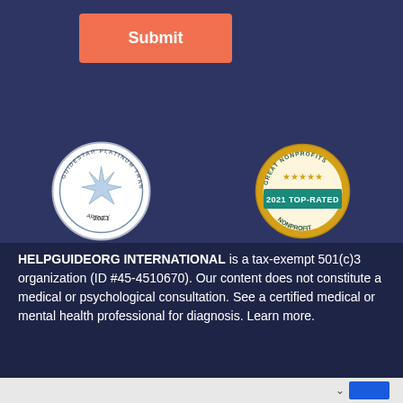Submit
[Figure (logo): Guidestar Platinum Transparency 2021 seal — circular badge with star in center]
[Figure (logo): Great Nonprofits 2021 Top-Rated Nonprofit badge — gold circle with teal ribbon banner]
HELPGUIDEORG INTERNATIONAL is a tax-exempt 501(c)3 organization (ID #45-4510670). Our content does not constitute a medical or psychological consultation. See a certified medical or mental health professional for diagnosis. Learn more.